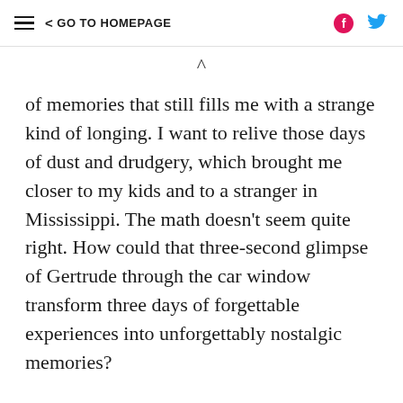≡ < GO TO HOMEPAGE
of memories that still fills me with a strange kind of longing. I want to relive those days of dust and drudgery, which brought me closer to my kids and to a stranger in Mississippi. The math doesn't seem quite right. How could that three-second glimpse of Gertrude through the car window transform three days of forgettable experiences into unforgettably nostalgic memories?
Following our visit to Mississippi, I began to read up on "positive psychology." After so many years concentrating on what makes depressed people